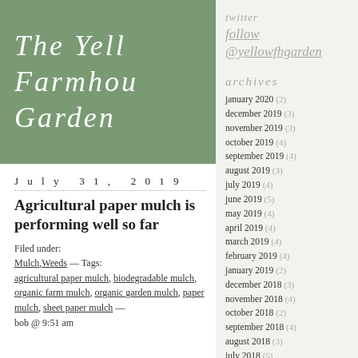The Yell Farmhou Garden
twitter
follow @yellowfhgarden
archives
january 2020 (2)
december 2019 (3)
november 2019 (3)
october 2019 (4)
september 2019 (4)
august 2019 (3)
july 2019 (4)
june 2019 (5)
may 2019 (4)
april 2019 (4)
march 2019 (4)
february 2019 (4)
january 2019 (2)
december 2018 (3)
november 2018 (4)
october 2018 (2)
september 2018 (4)
august 2018 (3)
july 2018 (5)
june 2018 (3)
may 2018 (3)
april 2018 (3)
march 2018 (3)
July 31, 2019
Agricultural paper mulch is performing well so far
Filed under: Mulch,Weeds — Tags: agricultural paper mulch, biodegradable mulch, organic farm mulch, organic garden mulch, paper mulch, sheet paper mulch — bob @ 9:51 am